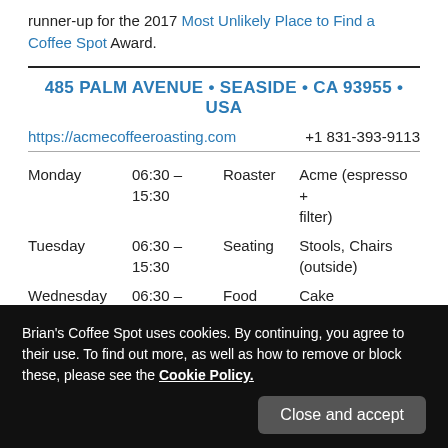runner-up for the 2017 Most Unlikely Place to Find a Coffee Spot Award.
485 PALM AVENUE • SEASIDE • CA 93955 • USA
https://acmecoffeeroasting.com   +1 831-393-9113
| Day | Hours | Feature | Details |
| --- | --- | --- | --- |
| Monday | 06:30 – 15:30 | Roaster | Acme (espresso + filter) |
| Tuesday | 06:30 – 15:30 | Seating | Stools, Chairs (outside) |
| Wednesday | 06:30 – | Food | Cake |
Brian's Coffee Spot uses cookies. By continuing, you agree to their use. To find out more, as well as how to remove or block these, please see the Cookie Policy.
Close and accept
15:00